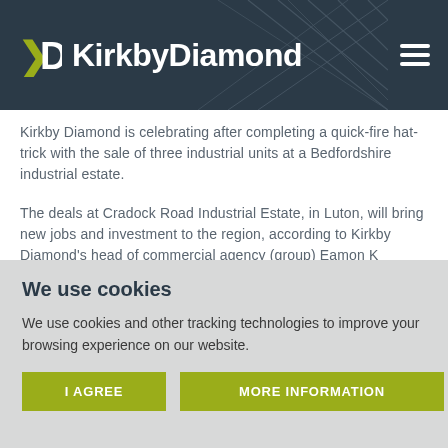KirkbyDiamond
Kirkby Diamond is celebrating after completing a quick-fire hat-trick with the sale of three industrial units at a Bedfordshire industrial estate.
The deals at Cradock Road Industrial Estate, in Luton, will bring new jobs and investment to the region, according to Kirkby Diamond's head of commercial agency (group) Eamon K...
We use cookies
We use cookies and other tracking technologies to improve your browsing experience on our website.
I AGREE
MORE INFORMATION